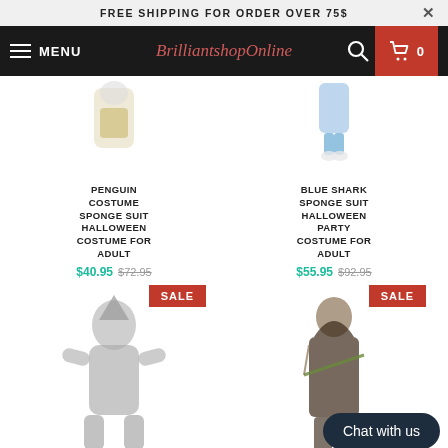FREE SHIPPING FOR ORDER OVER 75$
[Figure (screenshot): Navigation bar with MENU button, BrilliantshopOnline logo, search icon, and cart button showing 0 items]
[Figure (photo): Penguin costume sponge suit product image - partial view]
PENGUIN COSTUME SPONGE SUIT HALLOWEEN COSTUME FOR ADULT
$40.95 $72.95
[Figure (photo): Blue Shark Sponge Suit Halloween Party Costume product image - partial view showing blue pants and white shoes]
BLUE SHARK SPONGE SUIT HALLOWEEN PARTY COSTUME FOR ADULT
$55.95 $92.95
[Figure (photo): Shark onesie costume with SALE badge - person wearing full shark onesie suit]
[Figure (photo): Dark archer/hooded costume with SALE badge - female costume with bow]
Chat with us